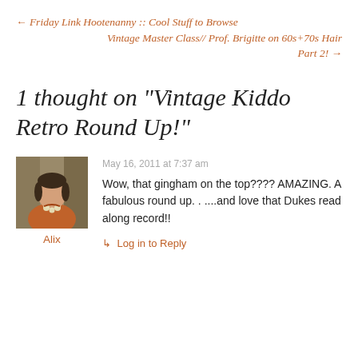← Friday Link Hootenanny :: Cool Stuff to Browse Vintage Master Class// Prof. Brigitte on 60s+70s Hair Part 2! →
1 thought on “Vintage Kiddo Retro Round Up!”
May 16, 2011 at 7:37 am
Wow, that gingham on the top???? AMAZING. A fabulous round up. . ....and love that Dukes read along record!!
Alix
↳ Log in to Reply